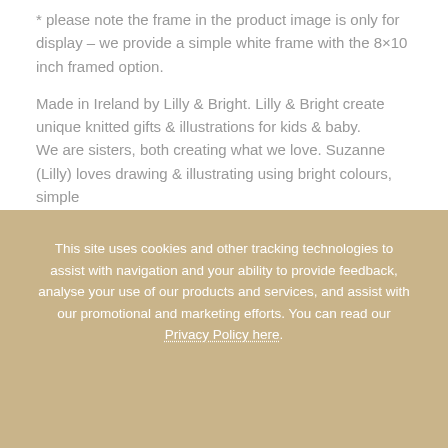* please note the frame in the product image is only for display – we provide a simple white frame with the 8×10 inch framed option.
Made in Ireland by Lilly & Bright. Lilly & Bright create unique knitted gifts & illustrations for kids & baby. We are sisters, both creating what we love. Suzanne (Lilly) loves drawing & illustrating using bright colours, simple
This site uses cookies and other tracking technologies to assist with navigation and your ability to provide feedback, analyse your use of our products and services, and assist with our promotional and marketing efforts. You can read our Privacy Policy here.
×
OK
DECLINE